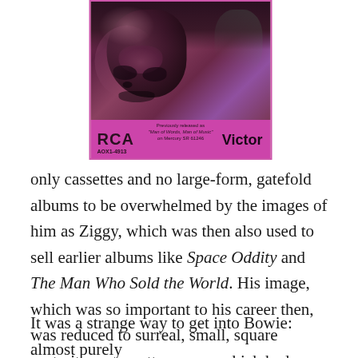[Figure (photo): A small square cassette tape cover for a David Bowie album on RCA Victor. The cover shows a close-up portrait of a person with dark hair against a pink/magenta background. The bottom strip is bright pink with the RCA logo on the left, small text in the center reading 'Previously released as Man of Words, Man of Music on Mercury SR 61246', the catalog number AOX1-4813, and 'Victor' in bold on the right.]
only cassettes and no large-form, gatefold albums to be overwhelmed by the images of him as Ziggy, which was then also used to sell earlier albums like Space Oddity and The Man Who Sold the World. His image, which was so important to his career then, was reduced to surreal, small, square portraits on cassette covers, which had no inner art.
It was a strange way to get into Bowie: almost purely